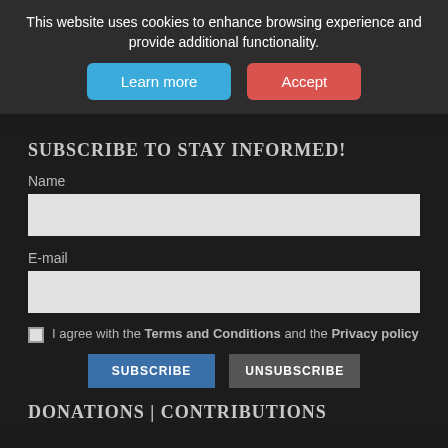This website uses cookies to enhance browsing experience and provide additional functionality.
Learn more
Accept
SUBSCRIBE TO STAY INFORMED!
Name
E-mail
I agree with the Terms and Conditions and the Privacy policy
SUBSCRIBE
UNSUBSCRIBE
DONATIONS | CONTRIBUTIONS